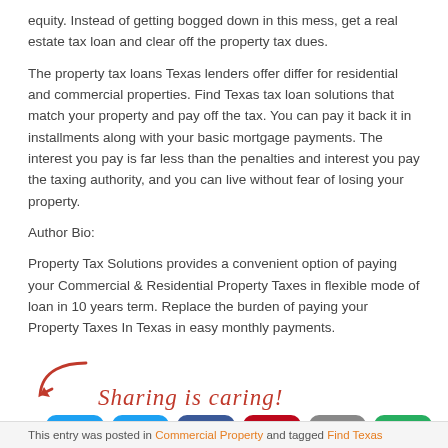equity. Instead of getting bogged down in this mess, get a real estate tax loan and clear off the property tax dues.
The property tax loans Texas lenders offer differ for residential and commercial properties. Find Texas tax loan solutions that match your property and pay off the tax. You can pay it back it in installments along with your basic mortgage payments. The interest you pay is far less than the penalties and interest you pay the taxing authority, and you can live without fear of losing your property.
Author Bio:
Property Tax Solutions provides a convenient option of paying your Commercial & Residential Property Taxes in flexible mode of loan in 10 years term. Replace the burden of paying your Property Taxes In Texas in easy monthly payments.
[Figure (infographic): Sharing is caring! text with arrow and social media buttons: Twitter (blue), Facebook (dark blue), Pinterest (red), Email (grey), More (green)]
This entry was posted in Commercial Property and tagged Find Texas